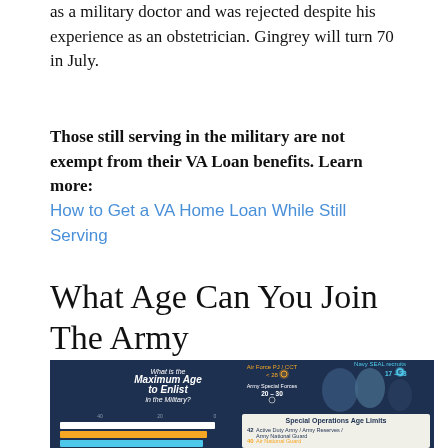as a military doctor and was rejected despite his experience as an obstetrician. Gingrey will turn 70 in July.
Those still serving in the military are not exempt from their VA Loan benefits. Learn more: How to Get a VA Home Loan While Still Serving
What Age Can You Join The Army
[Figure (infographic): Infographic showing maximum age to enlist in the military. Left side shows bar chart with age limits for different branches. Right side shows special operations age limits: Air Force PJ/CCT < 28, Army Special Forces 20-30, Navy SEAL recruits 17-28. Bottom legend: 42 Active Duty Army / Army Reserves / Army National Guard, 40 Air National Guard, 39 Active Duty Air Force / Navy Reserves / Coast Guard Reserves.]